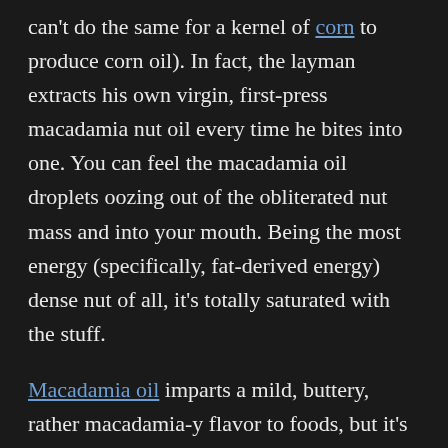can't do the same for a kernel of corn to produce corn oil). In fact, the layman extracts his own virgin, first-press macadamia nut oil every time he bites into one. You can feel the macadamia oil droplets oozing out of the obliterated nut mass and into your mouth. Being the most energy (specifically, fat-derived energy) dense nut of all, it's totally saturated with the stuff.
Macadamia oil imparts a mild, buttery, rather macadamia-y flavor to foods, but it's mild enough to use for homemade mayonnaise. It is highly shelf-stable and resistant to heat-induced oxidation; in one test, it bested rice bran oil, walnut oil, sesame oil, almond oil, avocado oil, grapeseed oil, and hazelnut oil in an oxidative potential test. Of all the seed and